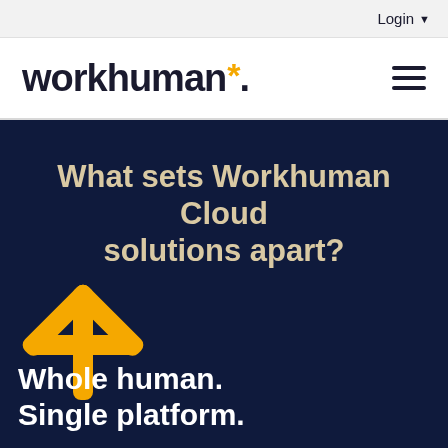Login
[Figure (logo): Workhuman logo with asterisk and hamburger menu icon]
What sets Workhuman Cloud solutions apart?
[Figure (illustration): Large golden asterisk/star icon on dark navy background]
Whole human. Single platform.